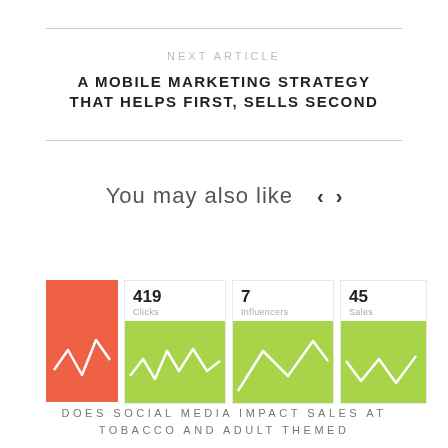NEXT ARTICLE
A MOBILE MARKETING STRATEGY THAT HELPS FIRST, SELLS SECOND
You may also like
[Figure (infographic): A strip of four dashboard stat cards: first card is red/orange with a white line chart, second shows '419 Clicks' with green line chart, third shows '7 Influencers' with green line chart, fourth shows '45 Sales' with partial green line chart.]
DOES SOCIAL MEDIA IMPACT SALES AT TOBACCO AND ADULT THEMED